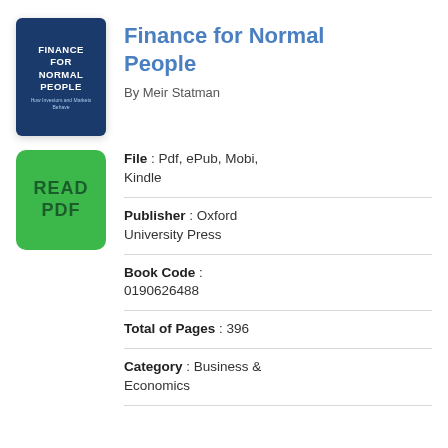[Figure (illustration): Book cover of 'Finance for Normal People' by Meir Statman, dark blue background with white bold text]
Finance for Normal People
By Meir Statman
[Figure (illustration): Green rounded rectangle button with text 'READ PDF']
File : Pdf, ePub, Mobi, Kindle
Publisher : Oxford University Press
Book Code : 0190626488
Total of Pages : 396
Category : Business & Economics